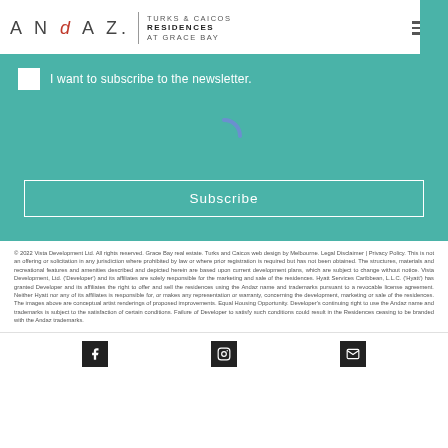ANDAZ. TURKS & CAICOS RESIDENCES AT GRACE BAY
I want to subscribe to the newsletter.
[Figure (other): Loading spinner icon (partial circle arc in blue)]
Subscribe
© 2022 Vista Development Ltd. All rights reserved. Grace Bay real estate. Turks and Caicos web design by Melbourne. Legal Disclaimer | Privacy Policy. This is not an offering or solicitation in any jurisdiction where prohibited by law or where prior registration is required but has not been obtained. The structures, materials and recreational features and amenities described and depicted herein are based upon current development plans, which are subject to change without notice. Vista Development, Ltd. ('Developer') and its affiliates are solely responsible for the marketing and sale of the residences. Hyatt Services Caribbean, L.L.C. ('Hyatt') has granted Developer and its affiliates the right to offer and sell the residences using the Andaz name and trademarks pursuant to a revocable license agreement. Neither Hyatt nor any of its affiliates is responsible for, or makes any representation or warranty, concerning the development, marketing or sale of the residences. The images above are conceptual artist renderings of proposed improvements. Equal Housing Opportunity. Developer's continuing right to use the Andaz name and trademarks is subject to the satisfaction of certain conditions. Failure of Developer to satisfy such conditions could result in the Residences ceasing to be branded with the Andaz trademarks.
[Figure (other): Social media icons: Facebook, Instagram, Email]